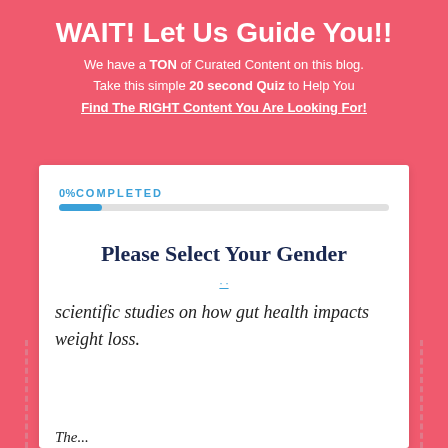WAIT! Let Us Guide You!!
We have a TON of Curated Content on this blog. Take this simple 20 second Quiz to Help You
Find The RIGHT Content You Are Looking For!
0%COMPLETED
Please Select Your Gender
scientific studies on how gut health impacts weight loss.